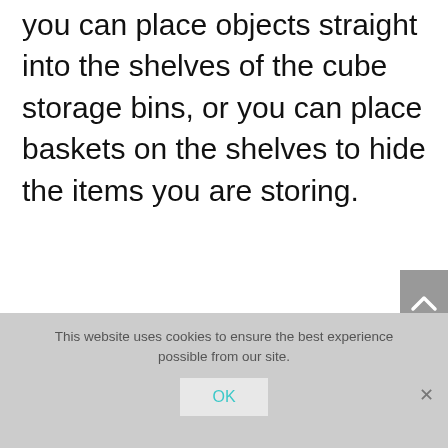you can place objects straight into the shelves of the cube storage bins, or you can place baskets on the shelves to hide the items you are storing.
This website uses cookies to ensure the best experience possible from our site.
OK